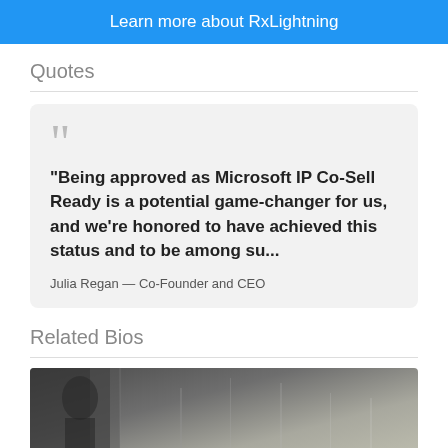Learn more about RxLightning
Quotes
"Being approved as Microsoft IP Co-Sell Ready is a potential game-changer for us, and we're honored to have achieved this status and to be among su...
Julia Regan — Co-Founder and CEO
Related Bios
[Figure (photo): A person standing near a brick wall, partial view, greyscale/muted tones photo]